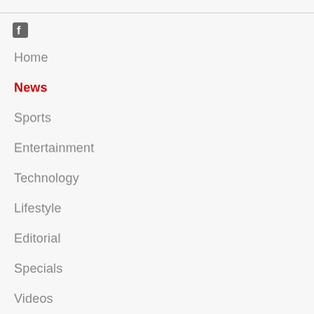[Figure (logo): Facebook icon (f logo) in gray]
Home
News
Sports
Entertainment
Technology
Lifestyle
Editorial
Specials
Videos